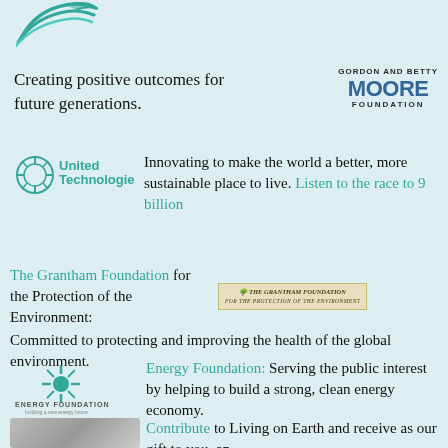[Figure (logo): Living on Earth wave/bird logo (teal swoosh lines)]
Creating positive outcomes for future generations.
[Figure (logo): Gordon and Betty Moore Foundation logo]
[Figure (logo): United Technologies logo with gear/circle and bold teal text]
Innovating to make the world a better, more sustainable place to live. Listen to the race to 9 billion
The Grantham Foundation for the Protection of the Environment: Committed to protecting and improving the health of the global environment.
[Figure (logo): The Grantham Foundation logo with tree and text on tan background]
[Figure (logo): Energy Foundation logo with starburst and text]
Energy Foundation: Serving the public interest by helping to build a strong, clean energy economy.
[Figure (photo): Hands/globe photo (grayscale)]
Contribute to Living on Earth and receive as our gift to you, an...